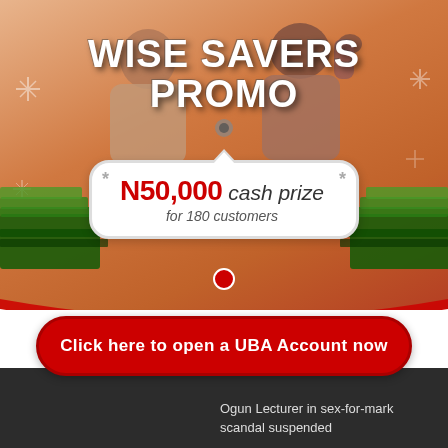[Figure (infographic): UBA Wise Savers Promo advertisement banner showing two people celebrating with stacks of money, prominently displaying 'WISE SAVERS PROMO' title and 'N50,000 cash prize for 180 customers' in a white badge, on a warm orange/red gradient background.]
Click here to open a UBA Account now
Ogun Lecturer in sex-for-mark scandal suspended